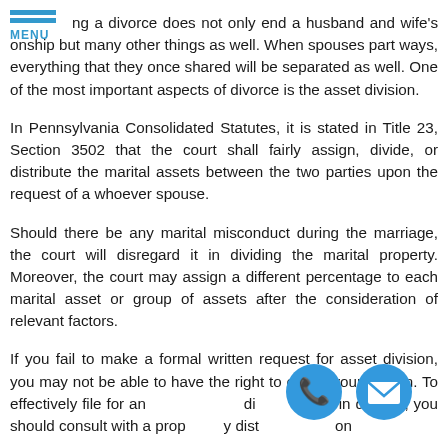MENU
ng a divorce does not only end a husband and wife's onship but many other things as well. When spouses part ways, everything that they once shared will be separated as well. One of the most important aspects of divorce is the asset division.
In Pennsylvania Consolidated Statutes, it is stated in Title 23, Section 3502 that the court shall fairly assign, divide, or distribute the marital assets between the two parties upon the request of a whoever spouse.
Should there be any marital misconduct during the marriage, the court will disregard it in dividing the marital property. Moreover, the court may assign a different percentage to each marital asset or group of assets after the consideration of relevant factors.
If you fail to make a formal written request for asset division, you may not be able to have the right to obtain your portion. To effectively file for an di in divorce, you should consult with a prop y dist on